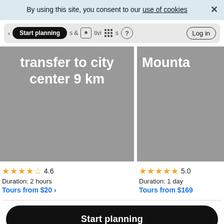By using this site, you consent to our use of cookies
[Figure (screenshot): Navigation bar with Start planning pill, activities icons, help icon, and Log in button]
[Figure (photo): Gray card showing 'transfer to city center 9 km' text overlay]
[Figure (photo): Gray card showing 'Mounta' text (partially cropped)]
4.6  Duration: 2 hours  Tours from $20 ›
5.0  Duration: 1 day  Tours from $169
Start planning